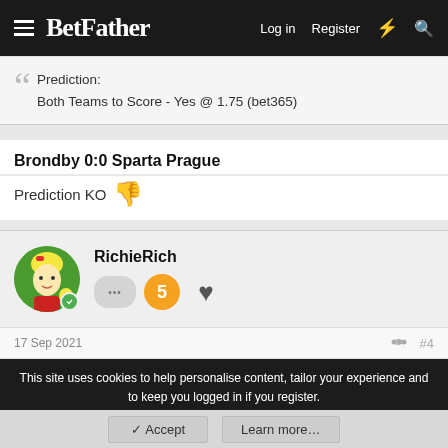BetFather — Login Register
Prediction:
Both Teams to Score - Yes @ 1.75 (bet365)
Brondby 0:0 Sparta Prague
Prediction KO 👎
RichieRich
17 Sep 2021  #4
This site uses cookies to help personalise content, tailor your experience and to keep you logged in if you register.
By continuing to use this site, you are consenting to our use of cookies.
✓ Accept    Learn more...